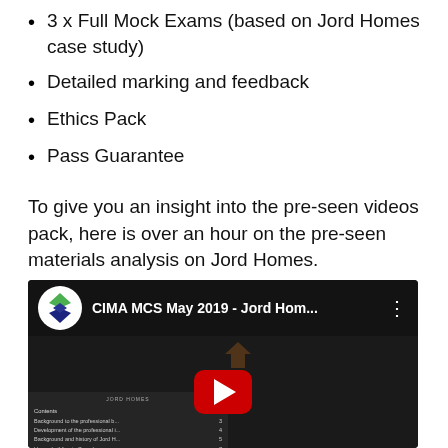3 x Full Mock Exams (based on Jord Homes case study)
Detailed marking and feedback
Ethics Pack
Pass Guarantee
To give you an insight into the pre-seen videos pack, here is over an hour on the pre-seen materials analysis on Jord Homes.
[Figure (screenshot): YouTube video thumbnail showing CIMA MCS May 2019 - Jord Hom... with channel logo, play button, and a table of contents in the background]